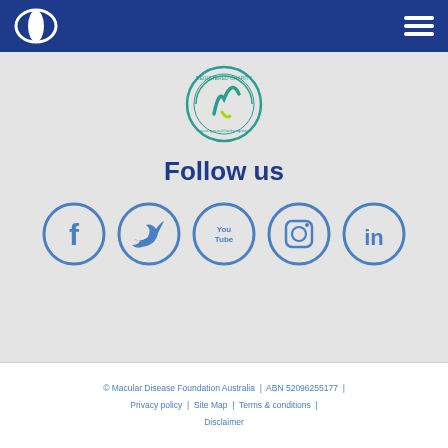[Figure (logo): White oval/circle logo on blue header bar (Macular Disease Foundation Australia logo)]
[Figure (logo): Hamburger menu icon (three white horizontal lines) on right side of blue header bar]
[Figure (logo): Registered Charity circular badge/seal with teal and green ribbon design, acnc.gov.au/charityregister]
Follow us
[Figure (infographic): Five social media icons in circles: Facebook (f), Twitter (bird), YouTube (You Tube), Instagram (camera), LinkedIn (in) — all in blue outline style]
© Macular Disease Foundation Australia  |  ABN 52096255177  |  Privacy policy  |  Site Map  |  Terms & conditions  |  Disclaimer